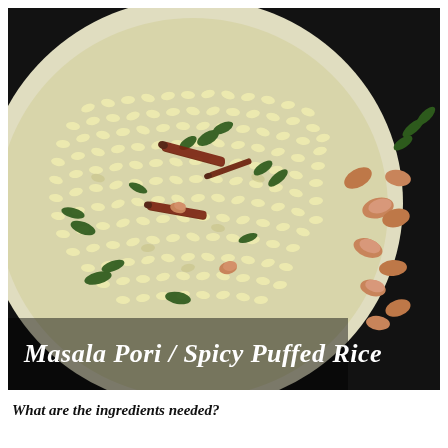[Figure (photo): A white bowl filled with Masala Pori (Spicy Puffed Rice) garnished with dried red chilies, curry leaves, and peanuts, on a dark background. Scattered peanuts visible to the right. White text overlay at bottom reads 'Masala Pori / Spicy Puffed Rice'.]
What are the ingredients needed?